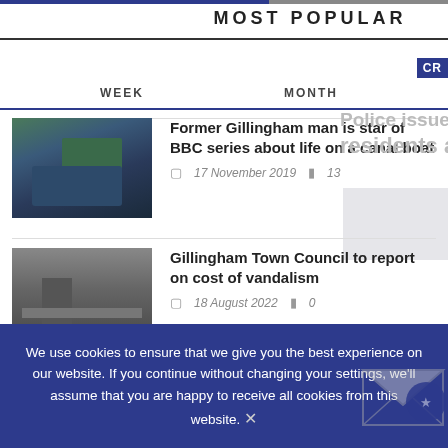MOST POPULAR
WEEK   MONTH   ALL TIME
[Figure (photo): Man on a green canal boat]
Former Gillingham man is star of BBC series about life on a canal boat
17 November 2019   13
[Figure (photo): Vandalised bench or railing in water]
Gillingham Town Council to report on cost of vandalism
18 August 2022   0
[Figure (photo): Teal/blue image for Dorset Council article]
Dorset Council forced to backtrack over 'Local
We use cookies to ensure that we give you the best experience on our website. If you continue without changing your settings, we'll assume that you are happy to receive all cookies from this website.